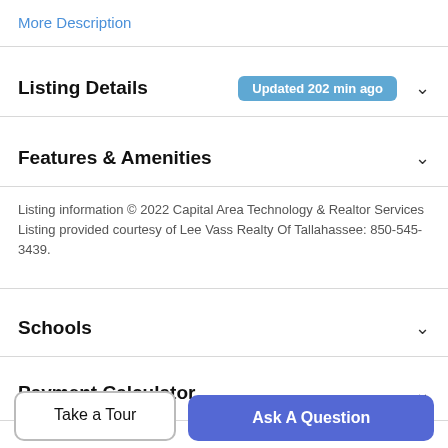More Description
Listing Details  Updated 202 min ago
Features & Amenities
Listing information © 2022 Capital Area Technology & Realtor Services Listing provided courtesy of Lee Vass Realty Of Tallahassee: 850-545-3439.
Schools
Payment Calculator
Contact Agent
Take a Tour
Ask A Question